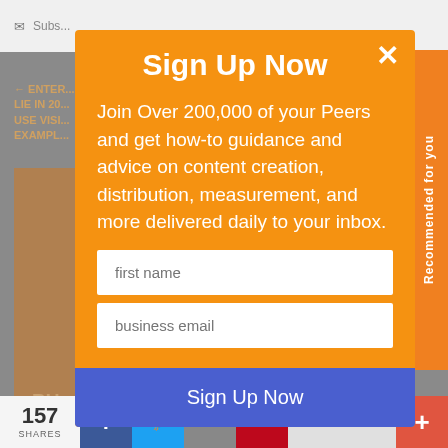[Figure (screenshot): Background webpage with gray overlay, showing partial navigation bar, text snippets, and a brown/tan content block]
Sign Up Now
Join Over 200,000 of your Peers and get how-to guidance and advice on content creation, distribution, measurement, and more delivered daily to your inbox.
first name
business email
Sign Up Now
157 SHARES
Recommended for you